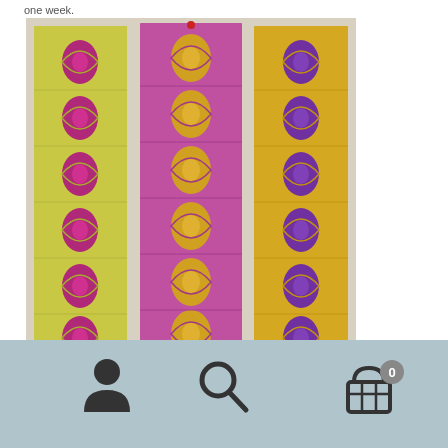one week.
[Figure (photo): Three vertical fabric strips with a geometric cathedral windows quilt pattern. Left strip is yellow-green with magenta/pink diamonds, center strip is magenta/purple with yellow diamonds, right strip is yellow/gold with purple diamonds. Strips are pinned to a light background.]
[Figure (infographic): Mobile website bottom navigation bar with user icon, search icon, and shopping cart icon with badge showing 0]